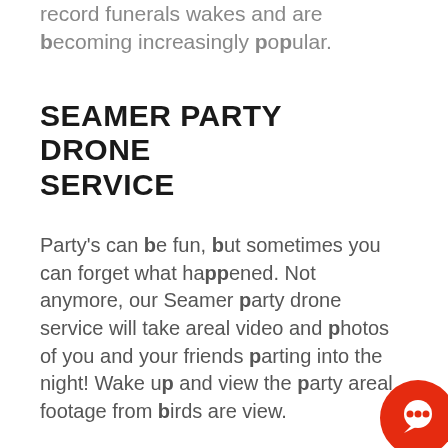record funerals wakes and are becoming increasingly popular.
SEAMER PARTY DRONE SERVICE
Party's can be fun, but sometimes you can forget what happened. Not anymore, our Seamer party drone service will take areal video and photos of you and your friends parting into the night! Wake up and view the party areal footage from birds are view.